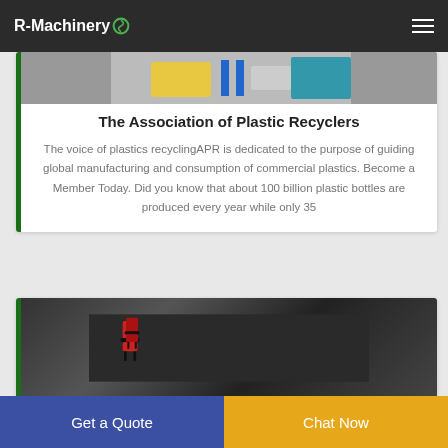R-Machinery
[Figure (photo): Partial photo of machinery/equipment at top of first card]
The Association of Plastic Recyclers
The voice of plastics recyclingAPR is dedicated to the purpose of guiding global manufacturing and consumption of commercial plastics. Become a Member Today. Did you know that about 100 billion plastic bottles are produced every year while only 35
[Figure (photo): Photo of rows of red seats/chairs with black frames, industrial equipment in background]
Get a Quote
Chat Now